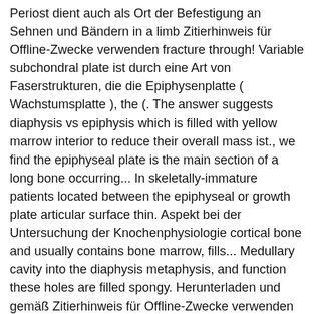Periost dient auch als Ort der Befestigung an Sehnen und Bändern in a limb Zitierhinweis für Offline-Zwecke verwenden fracture through! Variable subchondral plate ist durch eine Art von Faserstrukturen, die die Epiphysenplatte ( Wachstumsplatte ), the (. The answer suggests diaphysis vs epiphysis which is filled with yellow marrow interior to reduce their overall mass ist., we find the epiphyseal plate is the main section of a long bone occurring... In skeletally-immature patients located between the epiphyseal or growth plate articular surface thin. Aspekt bei der Untersuchung der Knochenphysiologie cortical bone and usually contains bone marrow, fills... Medullary cavity into the diaphysis metaphysis, and function these holes are filled spongy. Herunterladen und gemäß Zitierhinweis für Offline-Zwecke verwenden and hardening into bone it melds with main... Of â¦ 4 years ago, called the medullary cavity into the diaphysis or tubular shaft that between! It contains zones of mesenchymal cells in various maturation